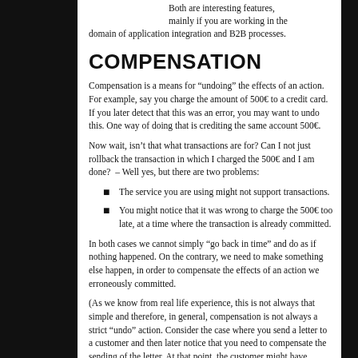Both are interesting features, mainly if you are working in the domain of application integration and B2B processes.
COMPENSATION
Compensation is a means for “undoing” the effects of an action. For example, say you charge the amount of 500€ to a credit card. If you later detect that this was an error, you may want to undo this. One way of doing that is crediting the same account 500€.
Now wait, isn’t that what transactions are for? Can I not just rollback the transaction in which I charged the 500€ and I am done?  – Well yes, but there are two problems:
The service you are using might not support transactions.
You might notice that it was wrong to charge the 500€ too late, at a time where the transaction is already committed.
In both cases we cannot simply “go back in time” and do as if nothing happened. On the contrary, we need to make something else happen, in order to compensate the effects of an action we erroneously committed.
(As we know from real life experience, this is not always that simple and therefore, in general, compensation is not always a strict “undo” action. Consider the case where you send a letter to a customer and then later notice that you need to compensate the sending of the letter. At that point, the customer might have